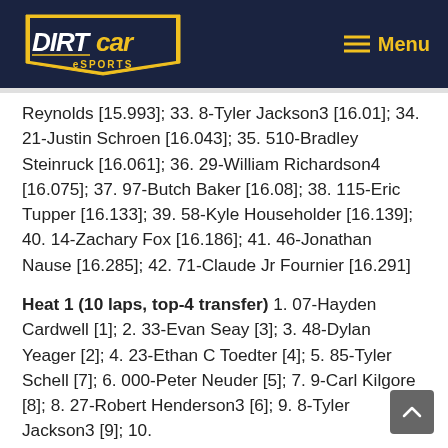DIRTcar eSPORTS — Menu
Reynolds [15.993]; 33. 8-Tyler Jackson3 [16.01]; 34. 21-Justin Schroen [16.043]; 35. 510-Bradley Steinruck [16.061]; 36. 29-William Richardson4 [16.075]; 37. 97-Butch Baker [16.08]; 38. 115-Eric Tupper [16.133]; 39. 58-Kyle Householder [16.139]; 40. 14-Zachary Fox [16.186]; 41. 46-Jonathan Nause [16.285]; 42. 71-Claude Jr Fournier [16.291]
Heat 1 (10 laps, top-4 transfer) 1. 07-Hayden Cardwell [1]; 2. 33-Evan Seay [3]; 3. 48-Dylan Yeager [2]; 4. 23-Ethan C Toedter [4]; 5. 85-Tyler Schell [7]; 6. 000-Peter Neuder [5]; 7. 9-Carl Kilgore [8]; 8. 27-Robert Henderson3 [6]; 9. 8-Tyler Jackson3 [9]; 10.